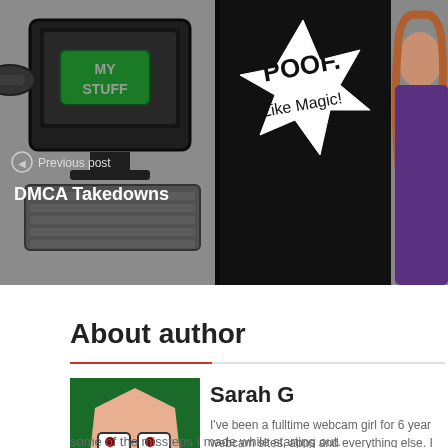[Figure (illustration): Banner showing a comic-style illustration on the left with a cartoon computer with green button labeled MY STUFF and text POOF. Like Magic!, overlaid with Previous post navigation label and DMCA Takedowns title. On the right a partial photo of a woman with long hair.]
Previous post
DMCA Takedowns
About author
[Figure (illustration): Author avatar: cartoon character with glasses and sharp teeth on green background]
Sarah G
I've been a fulltime webcam girl for 6 years and I know all about webcam sites, apps and everything else. I love being my own boss and able to set my own schedule. I started how to help others avoid some of the missteps I made while starting out.